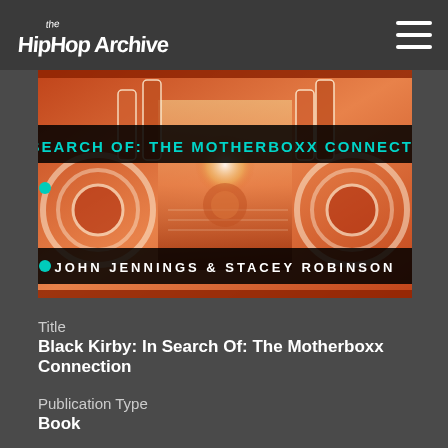The Hip Hop Archive
[Figure (illustration): Book cover art for 'Black Kirby: In Search Of: The Motherboxx Connection' by John Jennings & Stacey Robinson. Colorful comic-style artwork featuring mechanical and organic forms in orange, red, and cream tones. Text at top reads 'IN SEARCH OF: THE MOTHERBOXX CONNECTION' in teal/cyan letters on black bar. Bottom black bar reads 'JOHN JENNINGS & STACEY ROBINSON' in white stylized text. Two teal dots visible on left edge.]
Title
Black Kirby: In Search Of: The Motherboxx Connection
Publication Type
Book